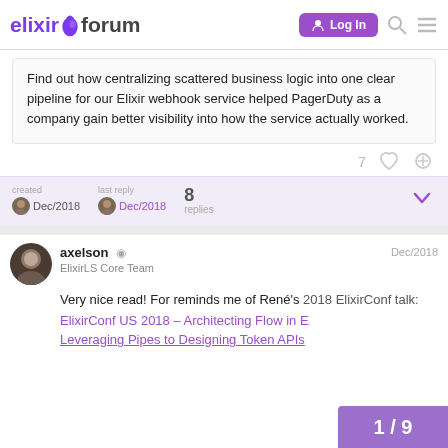elixir forum | Log In
Find out how centralizing scattered business logic into one clear pipeline for our Elixir webhook service helped PagerDuty as a company gain better visibility into how the service actually worked.
7 (likes) (link icon)
created Dec/2018  last reply Dec/2018  8 replies
axelson  ElixirLS Core Team  Dec/2018
Very nice read! For reminds me of René's 2018 ElixirConf talk: ElixirConf US 2018 – Architecting Flow in Elixir: From Leveraging Pipes to Designing Token APIs